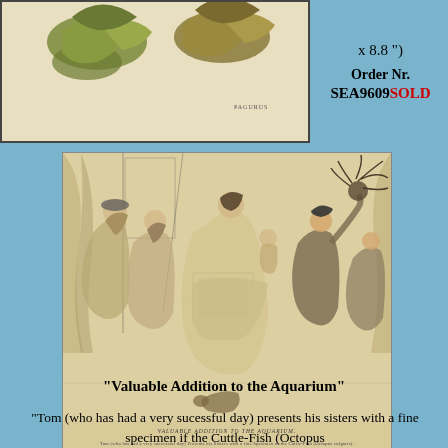[Figure (illustration): Top portion showing two crab claws on a beige background with 'PAGURUS' label, partially cropped at top]
x 8.8 ")
Order Nr.
SEA9609SOLD
[Figure (illustration): Victorian-era engraving titled 'Valuable Addition to the Aquarium' showing Tom presenting his sisters with a Cuttle-Fish (Octopus) specimen in a parlor scene]
"Valuable Addition to the Aquarium"
"Tom (who has had a very sucessful day) presents his sisters with a fine specimen if the Cuttle-Fish (Octopus